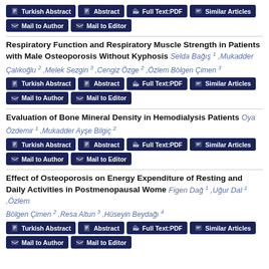Turkish Abstract | Abstract | Full Text:PDF | Similar Articles | Mail to Author | Mail to Editor
Respiratory Function and Respiratory Muscle Strength in Patients with Male Osteoporosis Without Kyphosis
Selda Bağış 1 ,Mukadder Çalıkoğlu 2 ,Melek Sezgin 3 ,Cengiz Özge 2 ,Özlem Bölgen Çimen 3
Turkish Abstract | Abstract | Full Text:PDF | Similar Articles | Mail to Author | Mail to Editor
Evaluation of Bone Mineral Density in Hemodialysis Patients
Oya Özdemir 1 ,Mukadder Ayşe Bilgiç 2
Turkish Abstract | Abstract | Full Text:PDF | Similar Articles | Mail to Author | Mail to Editor
Effect of Osteoporosis on Energy Expenditure of Resting and Daily Activities in Postmenopausal Wome
Figen Dağ 1 ,Uğur Dal 1 ,Özlem Bölgen Çimen 2 ,Resa Altun 3 ,Hüseyin Beydağı 4
Turkish Abstract | Abstract | Full Text:PDF | Similar Articles | Mail to Author | Mail to Editor